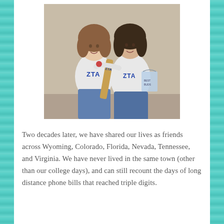[Figure (photo): Two young women in white ZTA (Zeta Tau Alpha) sorority sweatshirts posing together. One holds a wooden paddle with ZTA lettering, the other holds a gift bag. Both are smiling. The photo appears to be from the late 1980s or early 1990s.]
Two decades later, we have shared our lives as friends across Wyoming, Colorado, Florida, Nevada, Tennessee, and Virginia. We have never lived in the same town (other than our college days), and can still recount the days of long distance phone bills that reached triple digits.